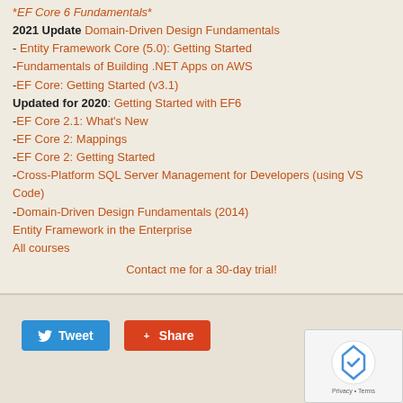*EF Core 6 Fundamentals*
2021 Update Domain-Driven Design Fundamentals
- Entity Framework Core (5.0): Getting Started
-Fundamentals of Building .NET Apps on AWS
-EF Core: Getting Started (v3.1)
Updated for 2020: Getting Started with EF6
-EF Core 2.1: What's New
-EF Core 2: Mappings
-EF Core 2: Getting Started
-Cross-Platform SQL Server Management for Developers (using VS Code)
-Domain-Driven Design Fundamentals (2014)
Entity Framework in the Enterprise
All courses
Contact me for a 30-day trial!
Tweet  Share  Privacy • Terms